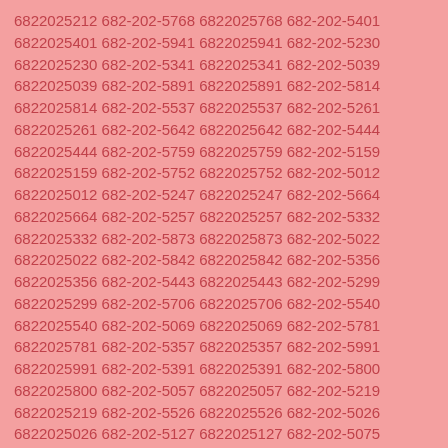6822025212 682-202-5768 6822025768 682-202-5401 6822025401 682-202-5941 6822025941 682-202-5230 6822025230 682-202-5341 6822025341 682-202-5039 6822025039 682-202-5891 6822025891 682-202-5814 6822025814 682-202-5537 6822025537 682-202-5261 6822025261 682-202-5642 6822025642 682-202-5444 6822025444 682-202-5759 6822025759 682-202-5159 6822025159 682-202-5752 6822025752 682-202-5012 6822025012 682-202-5247 6822025247 682-202-5664 6822025664 682-202-5257 6822025257 682-202-5332 6822025332 682-202-5873 6822025873 682-202-5022 6822025022 682-202-5842 6822025842 682-202-5356 6822025356 682-202-5443 6822025443 682-202-5299 6822025299 682-202-5706 6822025706 682-202-5540 6822025540 682-202-5069 6822025069 682-202-5781 6822025781 682-202-5357 6822025357 682-202-5991 6822025991 682-202-5391 6822025391 682-202-5800 6822025800 682-202-5057 6822025057 682-202-5219 6822025219 682-202-5526 6822025526 682-202-5026 6822025026 682-202-5127 6822025127 682-202-5075 6822025075 682-202-5947 6822025947 682-202-5730 6822025730 682-202-5256 6822025256 682-202-5728 6822025728 682-202-5494 6822025494 682-202-5882 6822025882 682-202-5338 6822025338 682-202-5267 6822025267 682-202-5749 6822025749 682-202-5475 6822025475 682-202-5286 6822025286 682-202-5106 6822025106 682-202-5500 6822025500 682-202-5508 6822025508 682-202-5331 6822025331 682-202-5727 6822025727 682-202-5246 6822025246 682-202-5829 6822025829 682-202-5592 6822025592 682-202-5572 6822025572 682-202-